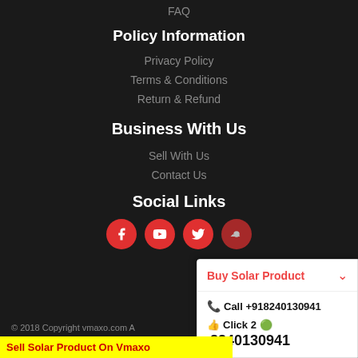FAQ
Policy Information
Privacy Policy
Terms & Conditions
Return & Refund
Business With Us
Sell With Us
Contact Us
Social Links
[Figure (illustration): Social media icons: Facebook, YouTube, Twitter, and one more (partially obscured), red circular buttons]
[Figure (screenshot): Popup overlay with 'Buy Solar Product' dropdown header, call number +918240130941, and WhatsApp Click 2 8240130941]
© 2018 Copyright vmaxo.com A
Sell Solar Product On Vmaxo